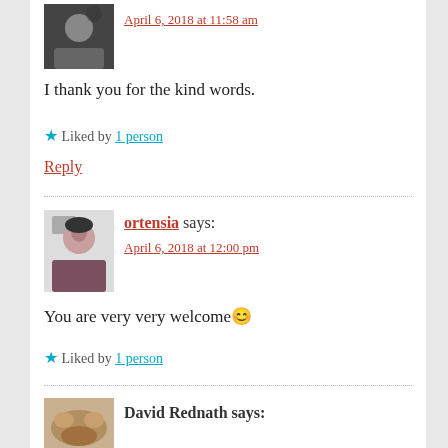[Figure (photo): Black and white avatar photo of a person]
April 6, 2018 at 11:58 am
I thank you for the kind words.
★ Liked by 1 person
Reply
[Figure (photo): Avatar photo of a woman named ortensia]
ortensia says:
April 6, 2018 at 12:00 pm
You are very very welcome😊
★ Liked by 1 person
[Figure (photo): Avatar photo of David Rednath]